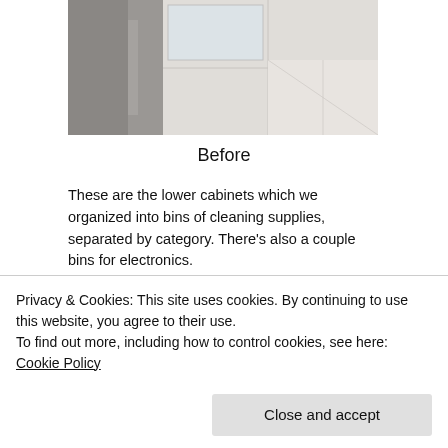[Figure (photo): Photo of ceiling/upper kitchen area with tile ceiling and metallic trim, taken from below - labeled as 'Before']
Before
These are the lower cabinets which we organized into bins of cleaning supplies, separated by category. There's also a couple bins for electronics.
[Figure (photo): Photo of dark kitchen countertop/cabinet area with granite-style surface and a small wooden tray on top, teal wall in background]
Privacy & Cookies: This site uses cookies. By continuing to use this website, you agree to their use.
To find out more, including how to control cookies, see here: Cookie Policy

[Close and accept button]